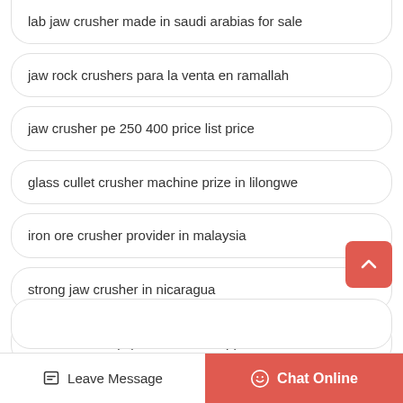lab jaw crusher made in saudi arabias for sale
jaw rock crushers para la venta en ramallah
jaw crusher pe 250 400 price list price
glass cullet crusher machine prize in lilongwe
iron ore crusher provider in malaysia
strong jaw crusher in nicaragua
coal crusher equipment russia supplier
Leave Message
Chat Online